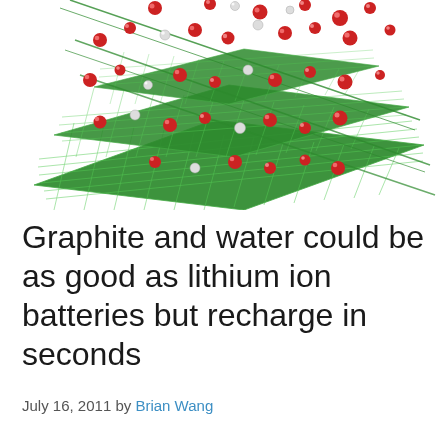[Figure (illustration): Scientific illustration of graphene sheets (green hexagonal lattice) with red and white spheres (water/ion molecules) scattered around and between the layers, showing intercalation into graphite structure.]
Graphite and water could be as good as lithium ion batteries but recharge in seconds
July 16, 2011 by Brian Wang